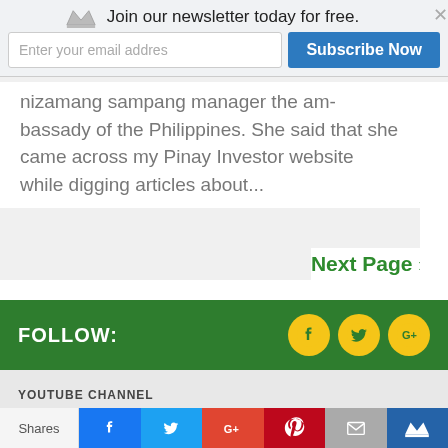Join our newsletter today for free.
Enter your email addres
Subscribe Now
nizamang sampang manager the am-bassady of the Philippines. She said that she came across my Pinay Investor website while digging articles about...
Next Page »
FOLLOW:
YOUTUBE CHANNEL
How to Check your T...
Shares